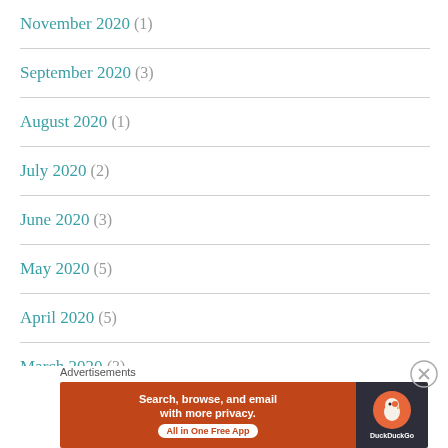November 2020 (1)
September 2020 (3)
August 2020 (1)
July 2020 (2)
June 2020 (3)
May 2020 (5)
April 2020 (5)
March 2020 (3)
Advertisements
[Figure (screenshot): DuckDuckGo advertisement banner: orange/red background on left with text 'Search, browse, and email with more privacy. All in One Free App', dark background on right with DuckDuckGo duck logo]